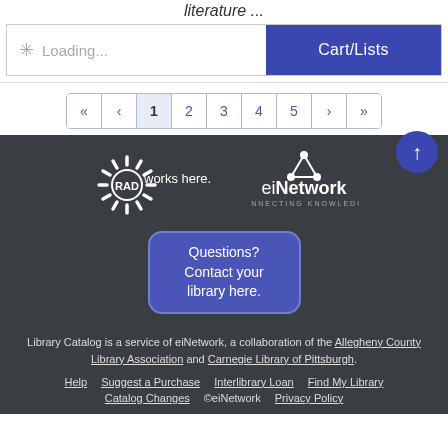literature ...
[Figure (screenshot): Loading bar with Cart/Lists button]
[Figure (screenshot): Pagination bar with pages 1 2 3 4 5 and navigation arrows]
[Figure (logo): RAD works here. logo and eiNetwork Connecting Knowledge logo]
[Figure (screenshot): Questions? Contact your library here. button]
Library Catalog is a service of eiNetwork, a collaboration of the Allegheny County Library Association and Carnegie Library of Pittsburgh.
Help   Suggest a Purchase   Interlibrary Loan   Find My Library
Catalog Changes   ©eiNetwork   Privacy Policy